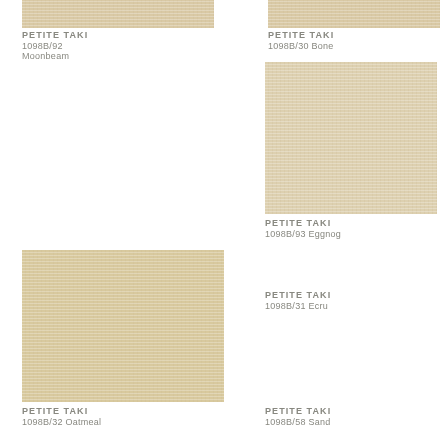[Figure (photo): Partial woven textile swatch top-left, Petite Taki 1098B/92 Moonbeam]
PETITE TAKI
1098B/92
Moonbeam
[Figure (photo): Partial woven textile swatch top-right, Petite Taki 1098B/30 Bone]
PETITE TAKI
1098B/30 Bone
[Figure (photo): Woven textile swatch right-middle, Petite Taki 1098B/93 Eggnog]
PETITE TAKI
1098B/93 Eggnog
[Figure (photo): Woven textile swatch left-bottom, Petite Taki 1098B/32 Oatmeal]
PETITE TAKI
1098B/31 Ecru
PETITE TAKI
1098B/32 Oatmeal
PETITE TAKI
1098B/58 Sand